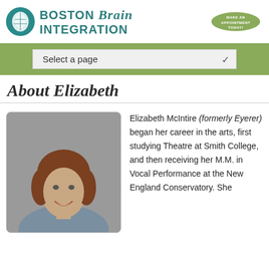[Figure (logo): Boston Brain Integration logo with teal circle containing a leaf/brain graphic and teal text reading BOSTON Brain INTEGRATION]
[Figure (illustration): Green leaf-shaped button with text Make an Appointment Today!]
Select a page
About Elizabeth
[Figure (photo): Professional headshot of Elizabeth McIntire, a woman with curly auburn hair, smiling, wearing a light blue jacket]
Elizabeth McIntire (formerly Eyerer) began her career in the arts, first studying Theatre at Smith College, and then receiving her M.M. in Vocal Performance at the New England Conservatory. She